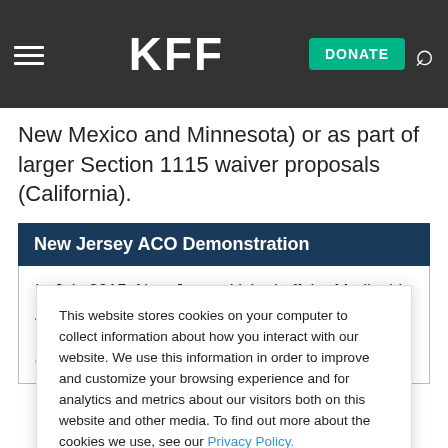KFF — DONATE [search icon]
New Mexico and Minnesota) or as part of larger Section 1115 waiver proposals (California).
New Jersey ACO Demonstration
In July 2015, New Jersey kicked off the Medicaid ACO Demonstration Project, which focuses on improving health outcomes, quality and access to care through regional collaboration, and
This website stores cookies on your computer to collect information about how you interact with our website. We use this information in order to improve and customize your browsing experience and for analytics and metrics about our visitors both on this website and other media. To find out more about the cookies we use, see our Privacy Policy.
Accept